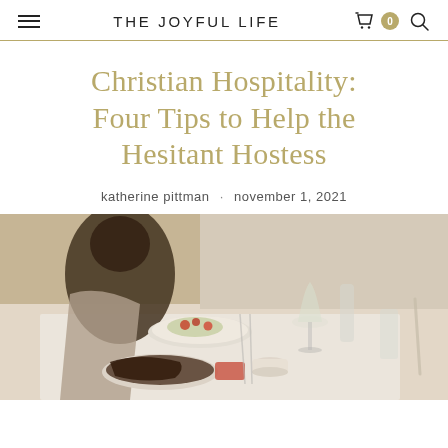THE JOYFUL LIFE
Christian Hospitality: Four Tips to Help the Hesitant Hostess
katherine pittman · november 1, 2021
[Figure (photo): A dining table set with plates of food, wine glasses, and tableware; people gathered around the table in the background.]